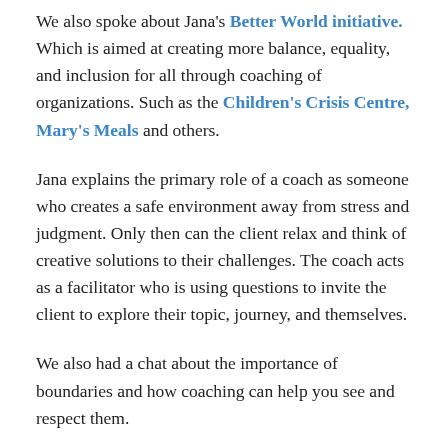We also spoke about Jana's Better World initiative. Which is aimed at creating more balance, equality, and inclusion for all through coaching of organizations. Such as the Children's Crisis Centre, Mary's Meals and others.
Jana explains the primary role of a coach as someone who creates a safe environment away from stress and judgment. Only then can the client relax and think of creative solutions to their challenges. The coach acts as a facilitator who is using questions to invite the client to explore their topic, journey, and themselves.
We also had a chat about the importance of boundaries and how coaching can help you see and respect them.